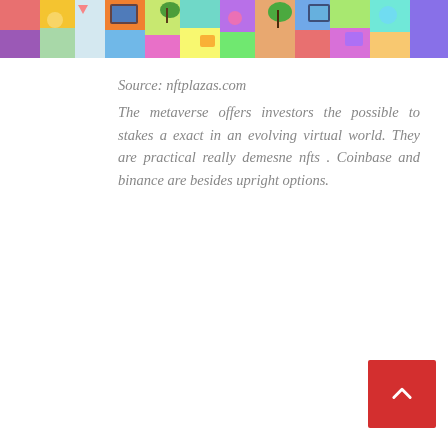[Figure (illustration): Colorful collage/banner image showing various NFT-style digital art objects including devices, plants, geometric shapes in vibrant colors across the top of the page.]
Source: nftplazas.com
The metaverse offers investors the possible to stakes a exact in an evolving virtual world. They are practical really demesne nfts . Coinbase and binance are besides upright options.